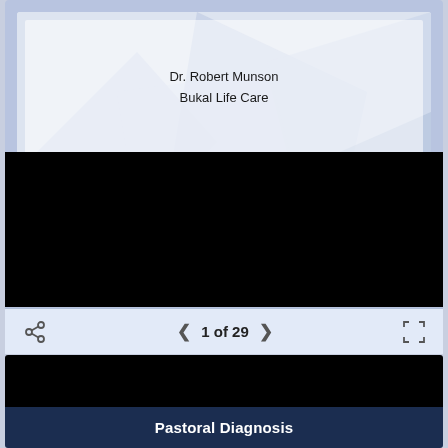[Figure (screenshot): A presentation slide with blue geometric background showing author text 'Dr. Robert Munson / Bukal Life Care' centered on the slide]
Dr. Robert Munson
Bukal Life Care
[Figure (screenshot): Black video/media area below the slide]
[Figure (screenshot): Navigation controls bar showing share icon, left arrow, '1 of 29', right arrow, and fullscreen icon]
1 of 29
[Figure (screenshot): Second slide card with black video area and dark blue title bar]
Pastoral Diagnosis